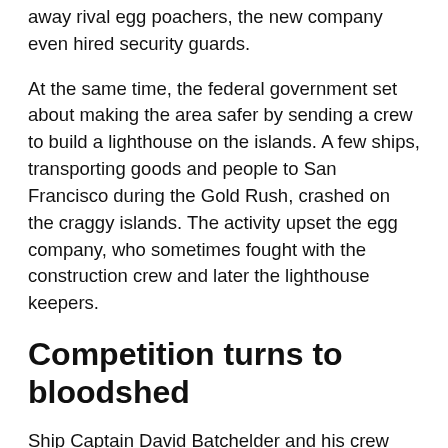away rival egg poachers, the new company even hired security guards.
At the same time, the federal government set about making the area safer by sending a crew to build a lighthouse on the islands. A few ships, transporting goods and people to San Francisco during the Gold Rush, crashed on the craggy islands. The activity upset the egg company, who sometimes fought with the construction crew and later the lighthouse keepers.
Competition turns to bloodshed
Ship Captain David Batchelder and his crew repeatedly tried to access the islands, but were consistently turned away by the egg company's guards.
To come...